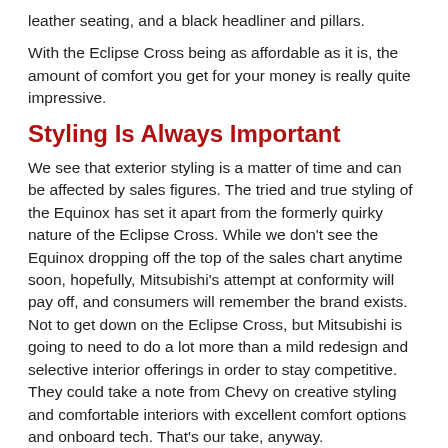leather seating, and a black headliner and pillars.
With the Eclipse Cross being as affordable as it is, the amount of comfort you get for your money is really quite impressive.
Styling Is Always Important
We see that exterior styling is a matter of time and can be affected by sales figures. The tried and true styling of the Equinox has set it apart from the formerly quirky nature of the Eclipse Cross. While we don't see the Equinox dropping off the top of the sales chart anytime soon, hopefully, Mitsubishi's attempt at conformity will pay off, and consumers will remember the brand exists. Not to get down on the Eclipse Cross, but Mitsubishi is going to need to do a lot more than a mild redesign and selective interior offerings in order to stay competitive. They could take a note from Chevy on creative styling and comfortable interiors with excellent comfort options and onboard tech. That's our take, anyway.
Related Posts